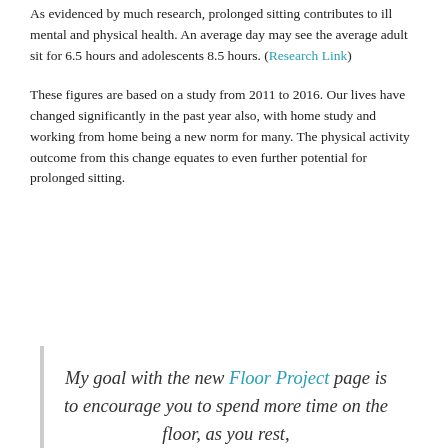As evidenced by much research, prolonged sitting contributes to ill mental and physical health. An average day may see the average adult sit for 6.5 hours and adolescents 8.5 hours. (Research Link)
These figures are based on a study from 2011 to 2016. Our lives have changed significantly in the past year also, with home study and working from home being a new norm for many. The physical activity outcome from this change equates to even further potential for prolonged sitting.
My goal with the new Floor Project page is to encourage you to spend more time on the floor, as you rest,